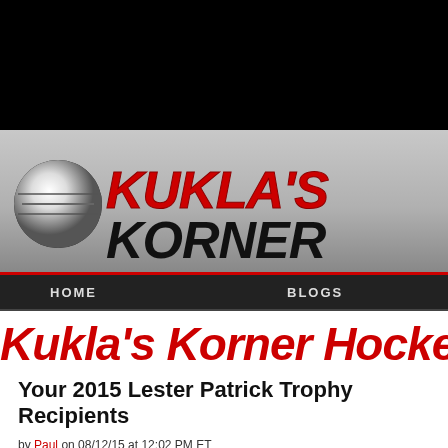[Figure (screenshot): Black top bar (navigation/advertisement area)]
[Figure (logo): Kukla's Korner hockey blog logo with hockey puck graphic and red/black stylized text on silver gradient background]
HOME   BLOGS
Kukla's Korner Hocke
Your 2015 Lester Patrick Trophy Recipients
by Paul on 08/12/15 at 12:02 PM ET
Comments (1)
NEW YORK (Aug. 12, 2015): Lester Patrick Trophy recipients are announced and...